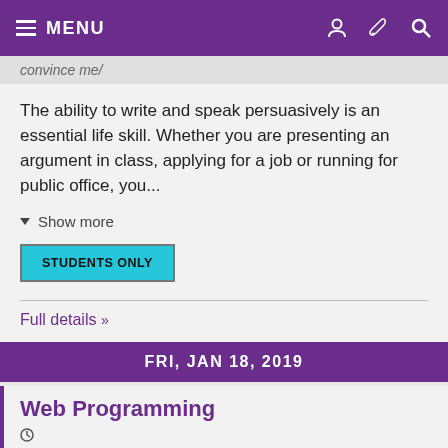MENU
convince me/
The ability to write and speak persuasively is an essential life skill. Whether you are presenting an argument in class, applying for a job or running for public office, you...
▾ Show more
STUDENTS ONLY
Full details »
FRI, JAN 18, 2019
Web Programming